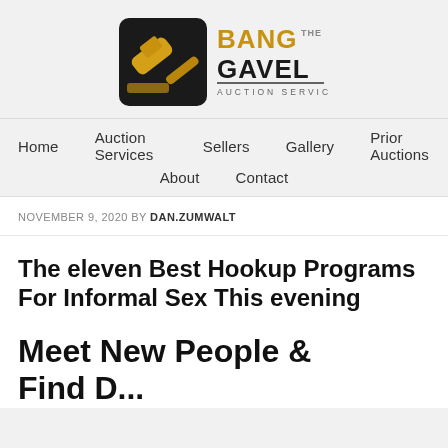[Figure (logo): Bang The Gavel Auction Services logo with a gavel icon on the left and bold text 'BANG THE GAVEL' with 'AUCTION SERVICES' below on the right]
Home   Auction Services   Sellers   Gallery   Prior Auctions   About   Contact
NOVEMBER 9, 2020 BY DAN.ZUMWALT
The eleven Best Hookup Programs For Informal Sex This evening
Meet New People & Find D...